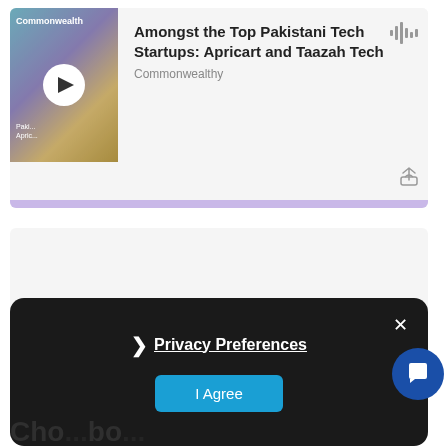[Figure (screenshot): Podcast player card showing episode 'Amongst the Top Pakistani Tech Startups: Apricart and Taazah Tech' by Commonwealthy, with thumbnail, play button, waveform icon, and share icon, with a purple bottom bar.]
[Figure (screenshot): Empty light gray card with a plus/add icon in the bottom right corner.]
[Figure (screenshot): Dark privacy preferences modal with 'Privacy Preferences' link, close X button, and 'I Agree' blue button.]
Cho...bo...